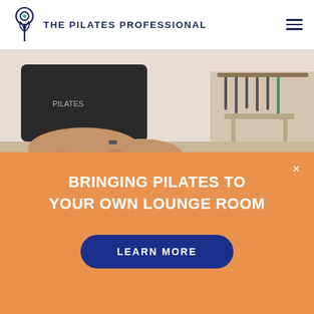THE PILATES PROFESSIONAL
[Figure (photo): Close-up photo of a Pilates instructor's hands guiding a client in a studio setting, with Pilates equipment visible in the background]
BRINGING PILATES TO YOUR OWN LOUNGE ROOM
LEARN MORE